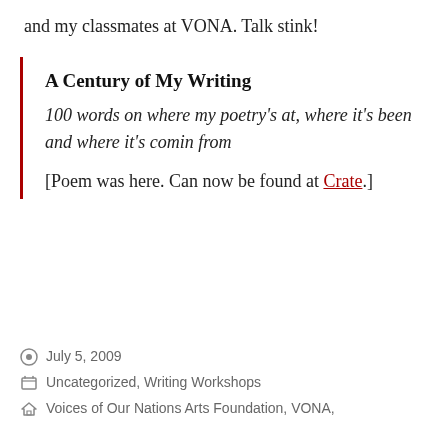and my classmates at VONA. Talk stink!
A Century of My Writing
100 words on where my poetry's at, where it's been and where it's comin from
[Poem was here. Can now be found at Crate.]
July 5, 2009
Uncategorized, Writing Workshops
Voices of Our Nations Arts Foundation, VONA,